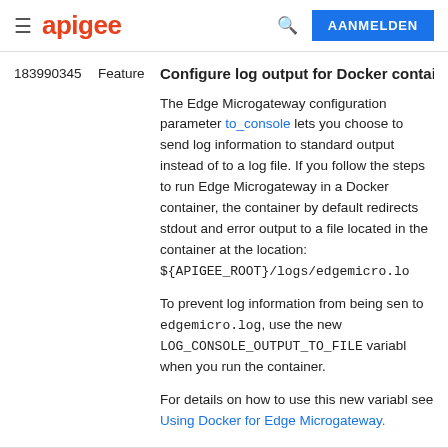apigee | AANMELDEN
183990345   Feature   Configure log output for Docker containe
The Edge Microgateway configuration parameter to_console lets you choose to send log information to standard output instead of to a log file. If you follow the steps to run Edge Microgateway in a Docker container, the container by default redirects stdout and error output to a file located in the container at the location: ${APIGEE_ROOT}/logs/edgemicro.lo
To prevent log information from being sent to edgemicro.log, use the new LOG_CONSOLE_OUTPUT_TO_FILE variable when you run the container.
For details on how to use this new variable, see Using Docker for Edge Microgateway.